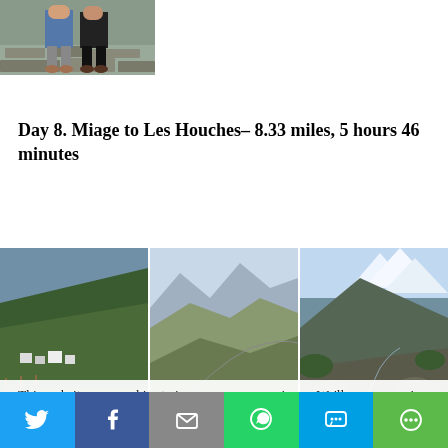[Figure (photo): Two people standing in front of a stone wall, wearing shorts and hiking attire]
Day 8. Miage to Les Houches– 8.33 miles, 5 hours 46 minutes
[Figure (photo): Three landscape mountain photos side by side: left shows a village below green hills, center shows mountain ridges with hazy peaks, right shows a rocky mountain stream with snow-capped peaks]
This website uses cookies to improve your experience. We'll assume you're ok with this, but you can opt-out if you
Twitter | Facebook | Email | WhatsApp | SMS | More